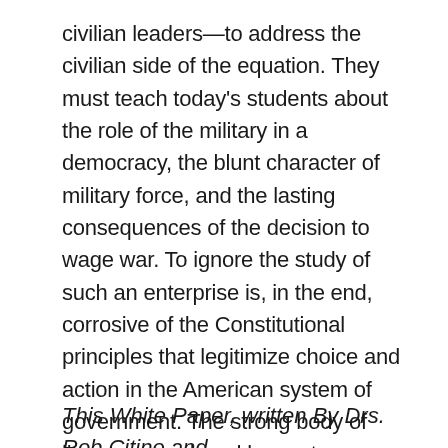civilian leaders—to address the civilian side of the equation. They must teach today's students about the role of the military in a democracy, the blunt character of military force, and the lasting consequences of the decision to wage war. To ignore the study of such an enterprise is, in the end, corrosive of the Constitutional principles that legitimize choice and action in the American system of government. The strong body of literature produced by contemporary military historians, and the knowledge and pedagogical skills that they bring to the classroom, can surely help in this crucial task.
This White Paper, written By Drs. Rob Citino and